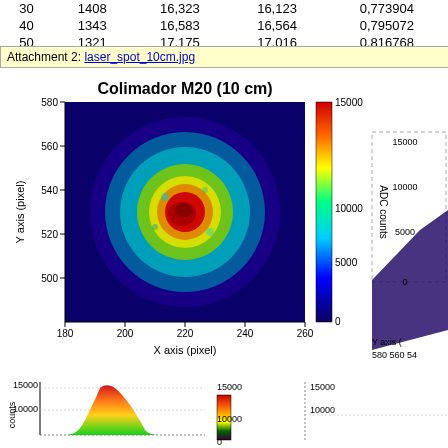| 30 | 1408 | 16,323 | 16,123 | 0,773904 |
| 40 | 1343 | 16,583 | 16,564 | 0,795072 |
| 50 | 1321 | 17,175 | 17,016 | 0,816768 |
Attachment 2: laser_spot_10cm.jpg
[Figure (continuous-plot): 2D false-color laser spot image titled 'Colimador M20 (10 cm)'. X axis (pixel) from 180 to 260, Y axis (pixel) from 500 to 580. Color scale from 0 to 15000 ADC counts showing a circular beam spot with red/hot center transitioning through yellow, green, cyan to dark blue background.]
[Figure (continuous-plot): Partial 3D surface plot of laser spot visible on right edge. Axes show Y axis (pixel) 580-540, ADC counts 0-15000.]
[Figure (continuous-plot): Bottom left: 1D intensity profile/histogram of laser spot, y axis 0-15000 counts, showing beam profile with red/yellow/green flame-like color gradient.]
[Figure (continuous-plot): Bottom center-right: color scale bar from 0 to 15000 and partial additional plot, ADC counts axis 0-15000.]